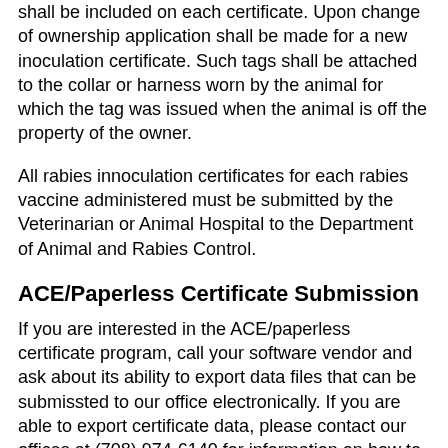shall be included on each certificate. Upon change of ownership application shall be made for a new inoculation certificate. Such tags shall be attached to the collar or harness worn by the animal for which the tag was issued when the animal is off the property of the owner.
All rabies innoculation certificates for each rabies vaccine administered must be submitted by the Veterinarian or Animal Hospital to the Department of Animal and Rabies Control.
ACE/Paperless Certificate Submission
If you are interested in the ACE/paperless certificate program, call your software vendor and ask about its ability to export data files that can be submissted to our office electronically. If you are able to export certificate data, please contact our offices at (708) 974-6140 for information on how to participate.